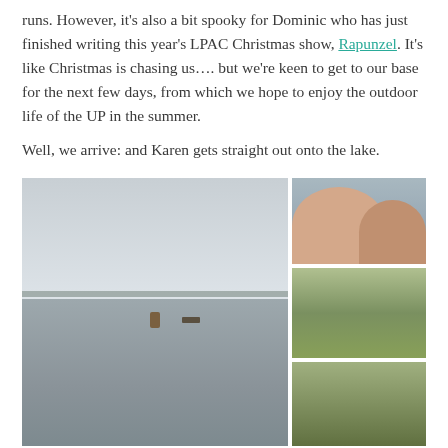runs. However, it's also a bit spooky for Dominic who has just finished writing this year's LPAC Christmas show, Rapunzel. It's like Christmas is chasing us.... but we're keen to get to our base for the next few days, from which we hope to enjoy the outdoor life of the UP in the summer.

Well, we arrive: and Karen gets straight out onto the lake.
[Figure (photo): Large photo of a calm lake with overcast sky, a person visible on the water mid-distance, and a dock or raft further out. Trees visible on far shore as a dark horizon line.]
[Figure (photo): Selfie photo of a woman and a bald man smiling, with a lake and sky in the background.]
[Figure (photo): A man sitting on a bench or chair outdoors on grass, with trees and a cabin-style building in the background.]
[Figure (photo): Photo of tall pine trees viewed from below, with green foliage and light filtering through.]